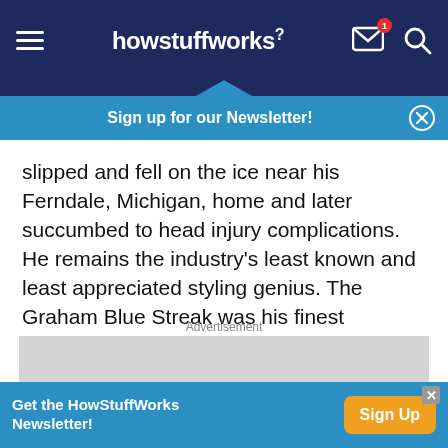howstuffworks
Sign up for our Newsletter!
slipped and fell on the ice near his Ferndale, Michigan, home and later succumbed to head injury complications. He remains the industry's least known and least appreciated styling genius. The Graham Blue Streak was his finest achievement.
Advertisement
[Figure (other): Gray advertisement placeholder rectangle]
Get the HowStuffWorks Newsletter!